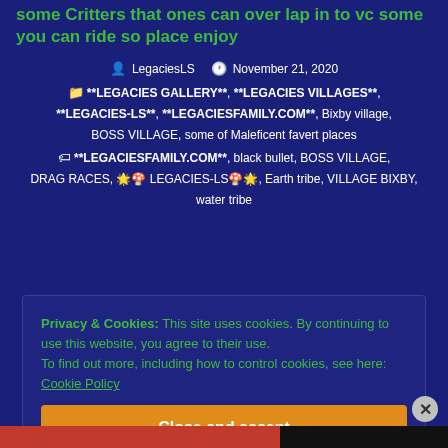some Critters that ones can over lap in to vc some you can ride so place enjoy
LegaciesLS  November 21, 2020
**LEGACIES GALLERY**, **LEGACIES VILLAGES**, **LEGACIES-LS**, **LEGACIESFAMILY.COM**, Bixby village, BOSS VILLAGE, some of Maleficent favert places
**LEGACIESFAMILY.COM**, black bullet, BOSS VILLAGE, DRAG RACES, 🌟🍄 LEGACIES-LS🍄🌟, Earth tribe, VILLAGE BIXBY, water tribe
Privacy & Cookies: This site uses cookies. By continuing to use this website, you agree to their use. To find out more, including how to control cookies, see here: Cookie Policy
Close and accept